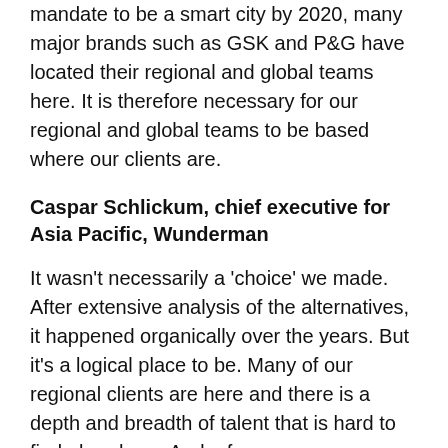mandate to be a smart city by 2020, many major brands such as GSK and P&G have located their regional and global teams here. It is therefore necessary for our regional and global teams to be based where our clients are.
Caspar Schlickum, chief executive for Asia Pacific, Wunderman
It wasn't necessarily a 'choice' we made. After extensive analysis of the alternatives, it happened organically over the years. But it's a logical place to be. Many of our regional clients are here and there is a depth and breadth of talent that is hard to find elsewhere. And, of course, geographically it is easy to get to the rest of the region. Having said that, we wouldn't be closed to the idea of having people with regional responsibilities based in other parts of the region. We just happen not to right now.